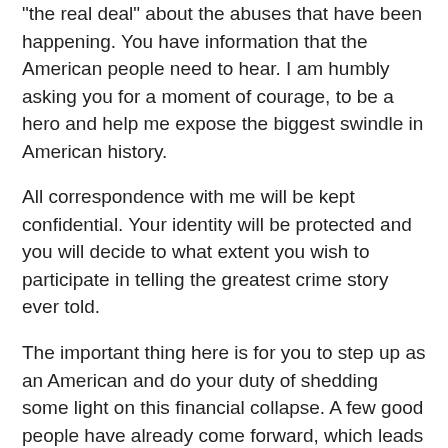"the real deal" about the abuses that have been happening. You have information that the American people need to hear. I am humbly asking you for a moment of courage, to be a hero and help me expose the biggest swindle in American history.
All correspondence with me will be kept confidential. Your identity will be protected and you will decide to what extent you wish to participate in telling the greatest crime story ever told.
The important thing here is for you to step up as an American and do your duty of shedding some light on this financial collapse. A few good people have already come forward, which leads me to believe there are many more of you out there who know what's going on. Here's your chance to let your fellow citizens in on the truth.
If you have any info that would help, please contact me at my private email address: bailout@michaelmoore.com.
For the rest of you on my email list who don't work in the